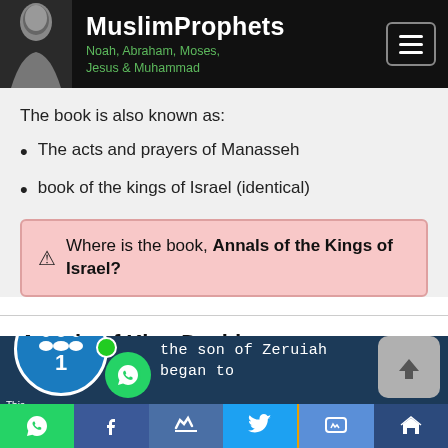MuslimProphets — Noah, Abraham, Moses, Jesus & Muhammad
The book is also known as:
The acts and prayers of Manasseh
book of the kings of Israel (identical)
⚠ Where is the book, Annals of the Kings of Israel?
Annals of King David
7 of 41
the son of Zeruiah began to